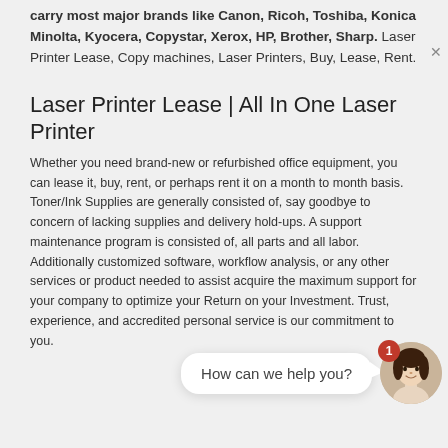carry most major brands like Canon, Ricoh, Toshiba, Konica Minolta, Kyocera, Copystar, Xerox, HP, Brother, Sharp. Laser Printer Lease, Copy machines, Laser Printers, Buy, Lease, Rent.
Laser Printer Lease | All In One Laser Printer
Whether you need brand-new or refurbished office equipment, you can lease it, buy, rent, or perhaps rent it on a month to month basis. Toner/Ink Supplies are generally consisted of, say goodbye to concern of lacking supplies and delivery hold-ups. A support maintenance program is consisted of, all parts and all labor. Additionally customized software, workflow analysis, or any other services or product needed to assist acquire the maximum support for your company to optimize your Return on your Investment. Trust, experience, and accredited personal service is our commitment to you.
[Figure (screenshot): Chat widget with speech bubble saying 'How can we help you?' and a circular avatar of a woman with brown hair, and a red notification badge with the number 1.]